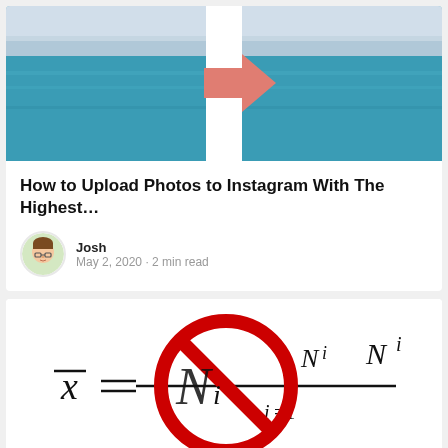[Figure (photo): Two side-by-side ocean/sky photos with a salmon-colored arrow pointing right between them, suggesting an upload or transfer action]
How to Upload Photos to Instagram With The Highest…
Josh · May 2, 2020 · 2 min read
[Figure (math-figure): Mathematical formula showing x-bar equals a summation, overlaid with a red circle-backslash prohibition symbol]
Maybe It's Time to Retire Mathematical